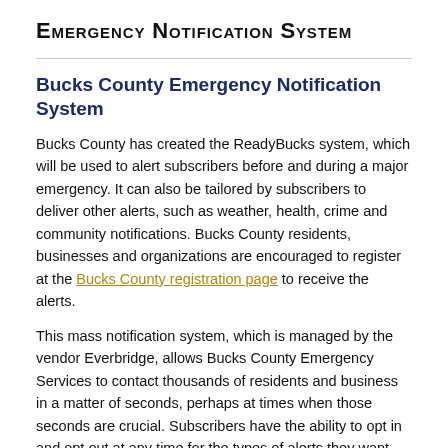Emergency Notification System
Bucks County Emergency Notification System
Bucks County has created the ReadyBucks system, which will be used to alert subscribers before and during a major emergency. It can also be tailored by subscribers to deliver other alerts, such as weather, health, crime and community notifications. Bucks County residents, businesses and organizations are encouraged to register at the Bucks County registration page to receive the alerts.
This mass notification system, which is managed by the vendor Everbridge, allows Bucks County Emergency Services to contact thousands of residents and business in a matter of seconds, perhaps at times when those seconds are crucial. Subscribers have the ability to opt in and opt out at any time for the types of alerts they want. The key, however,